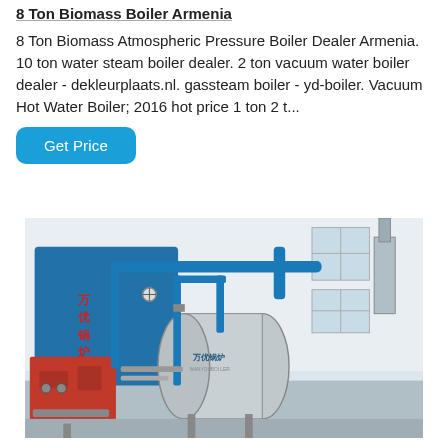8 Ton Biomass Boiler Armenia
8 Ton Biomass Atmospheric Pressure Boiler Dealer Armenia. 10 ton water steam boiler dealer. 2 ton vacuum water boiler dealer - dekleurplaats.nl. gassteam boiler - yd-boiler. Vacuum Hot Water Boiler; 2016 hot price 1 ton 2 t...
Get Price
[Figure (photo): Industrial biomass boiler installation showing a large blue and silver cylindrical boiler unit with associated piping, scaffolding, and equipment inside a white industrial facility. A red unit is visible on the left and various pipes and gauges are visible.]